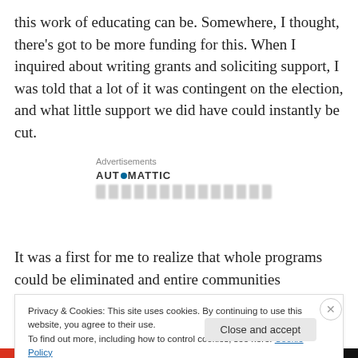this work of educating can be. Somewhere, I thought, there's got to be more funding for this. When I inquired about writing grants and soliciting support, I was told that a lot of it was contingent on the election, and what little support we did have could instantly be cut.
[Figure (other): Advertisements block with Automattic logo and blurred text below]
It was a first for me to realize that whole programs could be eliminated and entire communities devastated by a
Privacy & Cookies: This site uses cookies. By continuing to use this website, you agree to their use.
To find out more, including how to control cookies, see here: Cookie Policy